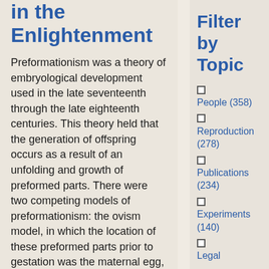in the Enlightenment
Preformationism was a theory of embryological development used in the late seventeenth through the late eighteenth centuries. This theory held that the generation of offspring occurs as a result of an unfolding and growth of preformed parts. There were two competing models of preformationism: the ovism model, in which the location of these preformed parts prior to gestation was the maternal egg, and the spermism model, in which a
Filter by Topic
People (358)
Reproduction (278)
Publications (234)
Experiments (140)
Legal